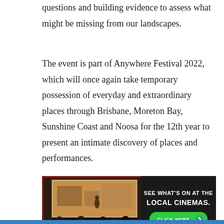emphasises the scientific principle of testing questions and building evidence to assess what might be missing from our landscapes.
The event is part of Anywhere Festival 2022, which will once again take temporary possession of everyday and extraordinary places through Brisbane, Moreton Bay, Sunshine Coast and Noosa for the 12th year to present an intimate discovery of places and performances.
[Figure (photo): Advertisement banner for local cinemas. Left side shows a cinema audience watching a film being projected on screen showing what appears to be a theatrical scene. Right side has dark background with white bold text reading 'SEE WHAT'S ON AT THE LOCAL CINEMAS.' and a green 'CLICK HERE' button with arrow.]